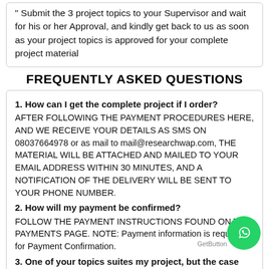" Submit the 3 project topics to your Supervisor and wait for his or her Approval, and kindly get back to us as soon as your project topics is approved for your complete project material
FREQUENTLY ASKED QUESTIONS
1. How can I get the complete project if I order?
AFTER FOLLOWING THE PAYMENT PROCEDURES HERE, AND WE RECEIVE YOUR DETAILS AS SMS ON 08037664978 or as mail to mail@researchwap.com, THE MATERIAL WILL BE ATTACHED AND MAILED TO YOUR EMAIL ADDRESS WITHIN 30 MINUTES, AND A NOTIFICATION OF THE DELIVERY WILL BE SENT TO YOUR PHONE NUMBER.
2. How will my payment be confirmed?
FOLLOW THE PAYMENT INSTRUCTIONS FOUND ON THE PAYMENTS PAGE. NOTE: Payment information is required for Payment Confirmation.
3. One of your topics suites my project, but the case study is different. What step should I take?
Students are always advised to use our materials as guide. However, if you have a different case study, you may need to